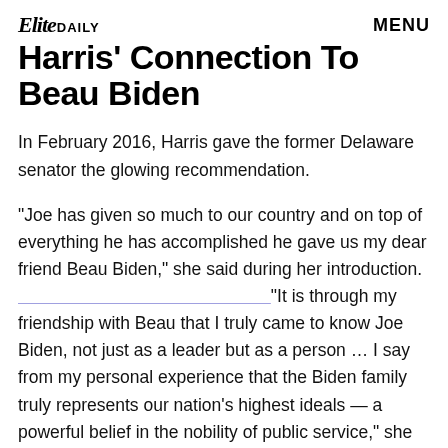Elite DAILY   MENU
Harris' Connection To Beau Biden
In February 2016, Harris gave the former Delaware senator the glowing recommendation.
"Joe has given so much to our country and on top of everything he has accomplished he gave us my dear friend Beau Biden," she said during her introduction. "It is through my friendship with Beau that I truly came to know Joe Biden, not just as a leader but as a person … I say from my personal experience that the Biden family truly represents our nation's highest ideals — a powerful belief in the nobility of public service," she closed.